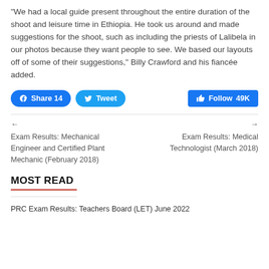"We had a local guide present throughout the entire duration of the shoot and leisure time in Ethiopia. He took us around and made suggestions for the shoot, such as including the priests of Lalibela in our photos because they want people to see. We based our layouts off of some of their suggestions," Billy Crawford and his fiancée added.
[Figure (other): Social media buttons: Facebook Share 14, Tweet, and Follow 49K]
← Exam Results: Mechanical Engineer and Certified Plant Mechanic (February 2018)
→ Exam Results: Medical Technologist (March 2018)
MOST READ
PRC Exam Results: Teachers Board (LET) June 2022